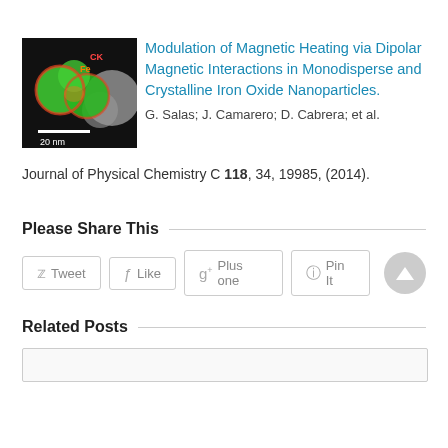[Figure (photo): Microscopy image of iron oxide nanoparticles showing green spherical particles with a 20 nm scale bar]
Modulation of Magnetic Heating via Dipolar Magnetic Interactions in Monodisperse and Crystalline Iron Oxide Nanoparticles.
G. Salas; J. Camarero; D. Cabrera; et al.
Journal of Physical Chemistry C 118, 34, 19985, (2014).
Please Share This
Tweet
Like
Plus one
Pin It
Related Posts